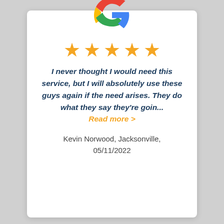[Figure (logo): Google 'G' logo in red, blue, yellow, green colors]
[Figure (other): Five orange star rating icons]
I never thought I would need this service, but I will absolutely use these guys again if the need arises. They do what they say they're goin...
Read more >
Kevin Norwood, Jacksonville, 05/11/2022